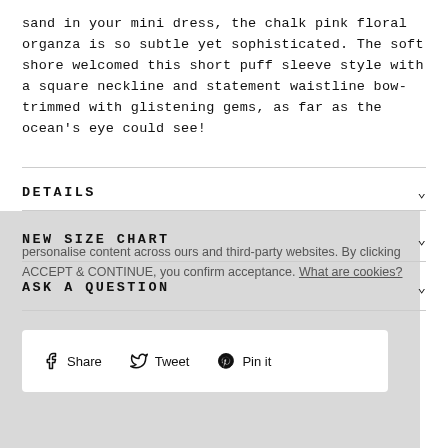sand in your mini dress, the chalk pink floral organza is so subtle yet sophisticated. The soft shore welcomed this short puff sleeve style with a square neckline and statement waistline bow-trimmed with glistening gems, as far as the ocean's eye could see!
DETAILS
NEW SIZE CHART
personalise content across ours and third-party websites. By clicking ACCEPT & CONTINUE, you confirm acceptance. What are cookies?
ASK A QUESTION
Share   Tweet   Pin it